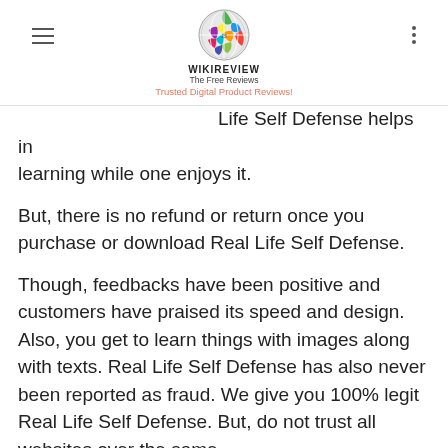WIKIREVIEW The Free Reviews — Trusted Digital Product Reviews!
Life Self Defense helps in learning while one enjoys it. But, there is no refund or return once you purchase or download Real Life Self Defense.

Though, feedbacks have been positive and customers have praised its speed and design. Also, you get to learn things with images along with texts. Real Life Self Defense has also never been reported as fraud. We give you 100% legit Real Life Self Defense. But, do not trust all websites over the same.

Expenses are increasing day by day and most of us are struggling hard to make both the ends meet. It is in this background we have to view the importance of Real Life Self Defense. They will function well and look nice according to our artistic talents. Is it not a